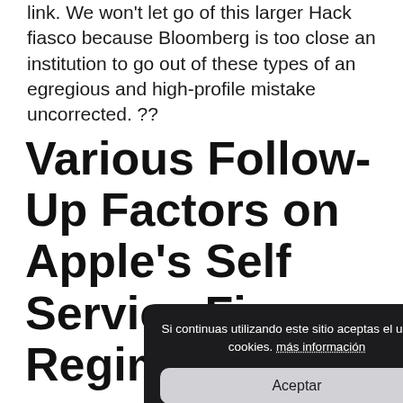link. We won't let go of this larger Hack fiasco because Bloomberg is too close an institution to go out of these types of an egregious and high-profile mistake uncorrected. ??
Various Follow-Up Factors on Apple's Self Service Fix Regimen
This appears to be a special event in right-to-repair groups and I don't view it as a big deal anyway. No one wants to heal unique damaged iPhone show or broken MacBook keyboard; also less folks are
Si continuas utilizando este sitio aceptas el uso de cookies. más información
Aceptar